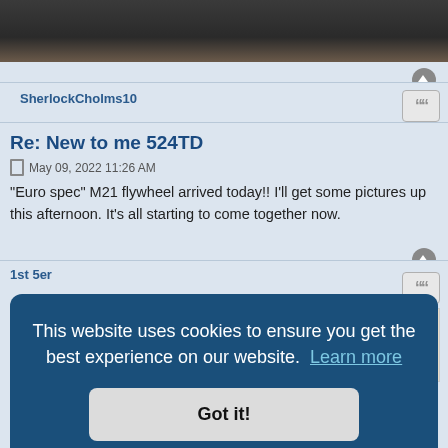[Figure (photo): Close-up photo of dark textured mechanical/automotive part, partially visible at top of page]
SherlockCholms10
Re: New to me 524TD
May 09, 2022 11:26 AM
"Euro spec" M21 flywheel arrived today!! I'll get some pictures up this afternoon. It's all starting to come together now.
1st 5er
This website uses cookies to ensure you get the best experience on our website. Learn more
Got it!